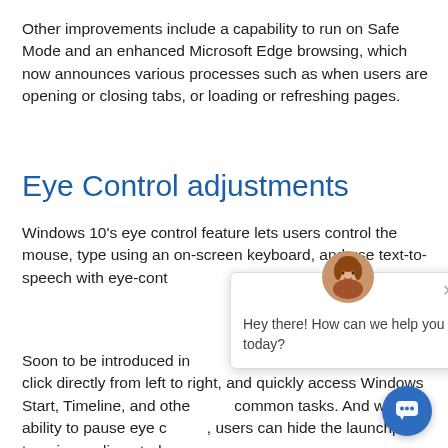Other improvements include a capability to run on Safe Mode and an enhanced Microsoft Edge browsing, which now announces various processes such as when users are opening or closing tabs, or loading or refreshing pages.
Eye Control adjustments
Windows 10's eye control feature lets users control the mouse, type using an on-screen keyboard, and use text-to-speech with eye-control tracking devices.
Soon to be introduced in [obscured by chat widget] users to scroll and click directly from left to right, and quickly access Windows Start, Timeline, and other common tasks. And with the ability to pause eye [obscured], users can hide the launchpad to enjoy undisrupted